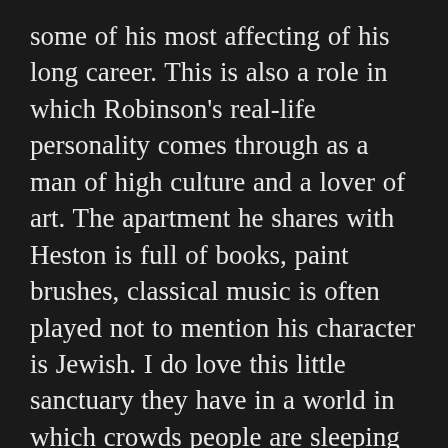some of his most affecting of his long career. This is also a role in which Robinson's real-life personality comes through as a man of high culture and a lover of art. The apartment he shares with Heston is full of books, paint brushes, classical music is often played not to mention his character is Jewish. I do love this little sanctuary they have in a world in which crowds people are sleeping on the stairs outside their apartment. I also get the impression there is something more between them than just friendship? During the movie, they claim their love for each other in an un-ironic nature and speak intimately with each other about their personal feelings. Or is there simply just share a platonic love for each other